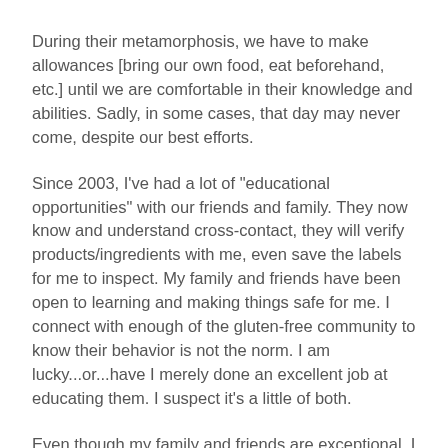During their metamorphosis, we have to make allowances [bring our own food, eat beforehand, etc.] until we are comfortable in their knowledge and abilities. Sadly, in some cases, that day may never come, despite our best efforts.
Since 2003, I've had a lot of "educational opportunities" with our friends and family. They now know and understand cross-contact, they will verify products/ingredients with me, even save the labels for me to inspect. My family and friends have been open to learning and making things safe for me. I connect with enough of the gluten-free community to know their behavior is not the norm. I am lucky...or...have I merely done an excellent job at educating them. I suspect it's a little of both.
Even though my family and friends are exceptional, I always bring at least one dish that I know is safe. Often times, I'll bring a second dish of the same food just for me